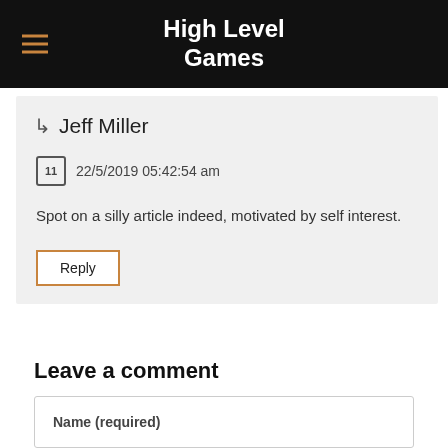High Level Games
↳ Jeff Miller
22/5/2019 05:42:54 am
Spot on a silly article indeed, motivated by self interest.
Reply
Leave a comment
Name (required)